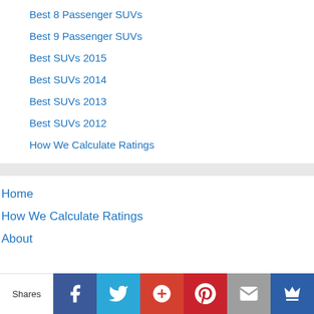Best 8 Passenger SUVs
Best 9 Passenger SUVs
Best SUVs 2015
Best SUVs 2014
Best SUVs 2013
Best SUVs 2012
How We Calculate Ratings
Home
How We Calculate Ratings
About